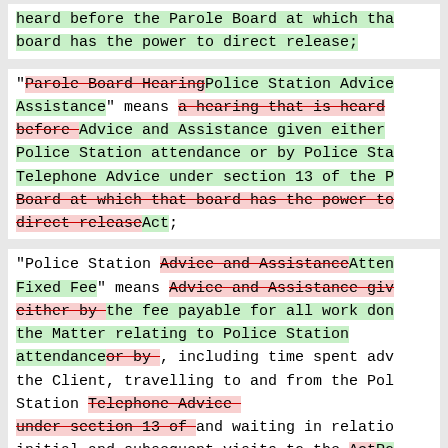heard before the Parole Board at which the board has the power to direct release;
"Parole Board Hearing[deleted]Police Station Advice Assistance" means a hearing that is heard before [deleted] Advice and Assistance given either Police Station attendance or by Police Station Telephone Advice under section 13 of the P[deleted] Board at which that board has the power to direct release[deleted]Act;
"Police Station Advice and Assistance[deleted]Attendance Fixed Fee" means Advice and Assistance given[deleted] either by [deleted] the fee payable for all work done the Matter relating to Police Station attendance[deleted]or by[deleted], including time spent advising the Client, travelling to and from the Police Station Telephone Advice under section 13 of [deleted] and waiting in relation to initial and subsequent visits to the Act[deleted]Po